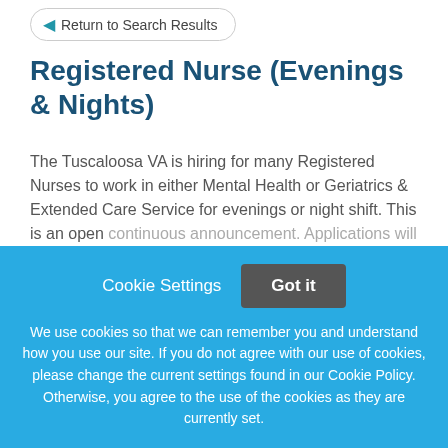Return to Search Results
Registered Nurse (Evenings & Nights)
The Tuscaloosa VA is hiring for many Registered Nurses to work in either Mental Health or Geriatrics & Extended Care Service for evenings or night shift. This is an open continuous announcement. Applications will be accepted
This job listing is no longer active.
Cookie Settings
Got it
We use cookies so that we can remember you and understand how you use our site. If you do not agree with our use of cookies, please change the current settings found in our Cookie Policy. Otherwise, you agree to the use of the cookies as they are currently set.